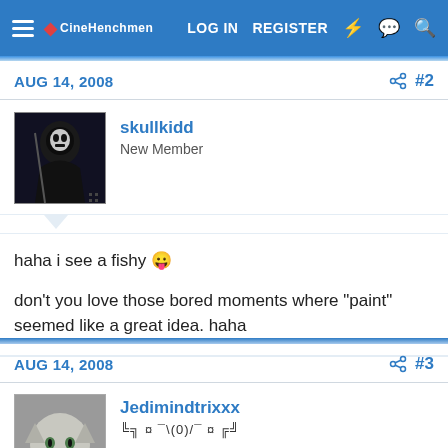LOG IN  REGISTER
AUG 14, 2008  #2
skullkidd
New Member
haha i see a fishy 😛

don't you love those bored moments where "paint" seemed like a great idea. haha
AUG 14, 2008  #3
Jedimindtrixxx